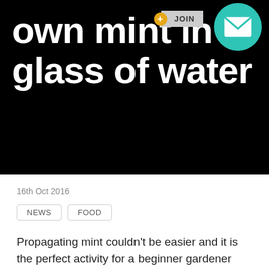own mint in a glass of water
16th Oct 2016
NEWS   FOOD
Propagating mint couldn't be easier and it is the perfect activity for a beginner gardener because you will achieve fast results. Once your plant has grown you will have your own fresh supply that is free from plastic and pesticides.